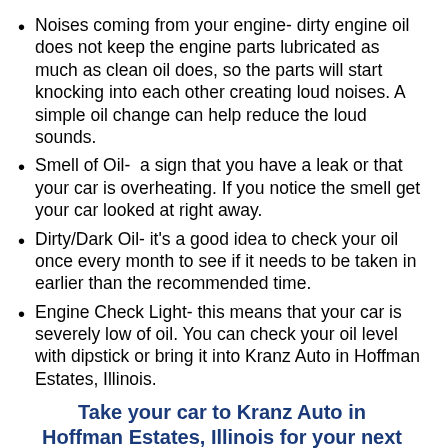Noises coming from your engine- dirty engine oil does not keep the engine parts lubricated as much as clean oil does, so the parts will start knocking into each other creating loud noises. A simple oil change can help reduce the loud sounds.
Smell of Oil-  a sign that you have a leak or that your car is overheating. If you notice the smell get your car looked at right away.
Dirty/Dark Oil- it's a good idea to check your oil once every month to see if it needs to be taken in earlier than the recommended time.
Engine Check Light- this means that your car is severely low of oil. You can check your oil level with dipstick or bring it into Kranz Auto in Hoffman Estates, Illinois.
Take your car to Kranz Auto in Hoffman Estates, Illinois for your next